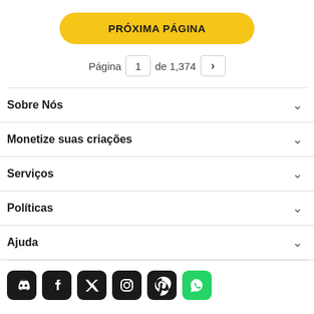PRÓXIMA PÁGINA
Página 1 de 1,374 >
Sobre Nós
Monetize suas criações
Serviços
Políticas
Ajuda
[Figure (illustration): Social media icons row: Discord, Facebook, Twitter, Instagram, Pinterest, WhatsApp]